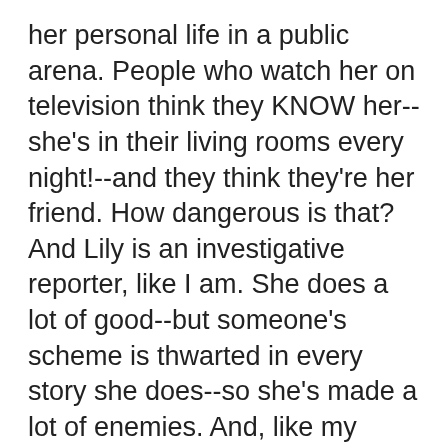her personal life in a public arena. People who watch her on television think they KNOW her--she's in their living rooms every night!--and they think they're her friend. How dangerous is that? And Lily is an investigative reporter, like I am. She does a lot of good--but someone's scheme is thwarted in every story she does--so she's made a lot of enemies. And, like my burglar, they know where she lives.
DEBORAH CROMBIE: It is such a fabulous cover, Hank! Everytime I see it